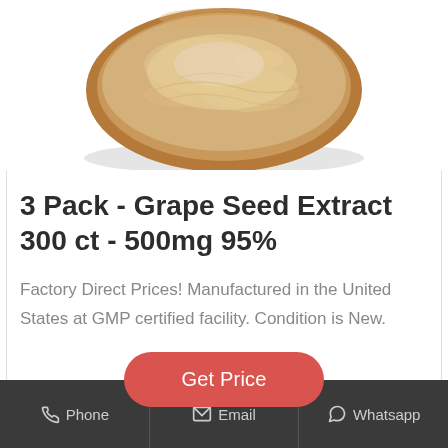[Figure (photo): Top-down view of a wooden bowl filled with beige/tan powder (grape seed extract powder), photographed from above. The bowl is circular with a wooden rim, and the powder fills the bowl.]
3 Pack - Grape Seed Extract 300 ct - 500mg 95%
Factory Direct Prices! Manufactured in the United States at GMP certified facility. Condition is New.
Get Price
Phone  Email  Whatsapp